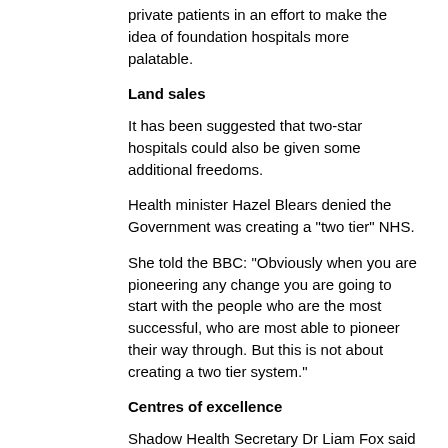private patients in an effort to make the idea of foundation hospitals more palatable.
Land sales
It has been suggested that two-star hospitals could also be given some additional freedoms.
Health minister Hazel Blears denied the Government was creating a "two tier" NHS.
She told the BBC: "Obviously when you are pioneering any change you are going to start with the people who are the most successful, who are most able to pioneer their way through. But this is not about creating a two tier system."
Centres of excellence
Shadow Health Secretary Dr Liam Fox said the Tories "entirely welcomed" foundation hospitals which were "market-orientated" and would break up the NHS monopoly of supply.
But he said questioned how much freedom the hospitals would really have, and said the safeguards aimed at preventing them poaching of staff were "utterly unworkable" and a legal lock on retaining assets in the NHS "absolutely meaningless".
Liberal Democrat health spokesman, Dr Evan Harris,